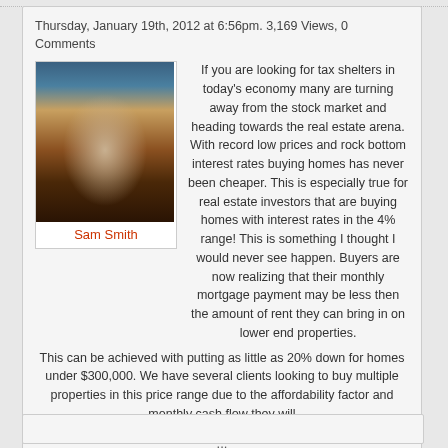Thursday, January 19th, 2012 at 6:56pm. 3,169 Views, 0 Comments
[Figure (photo): Photo of a Spanish/Mediterranean style building exterior at dusk with warm lighting and a tree in front]
Sam Smith
If you are looking for tax shelters in today's economy many are turning away from the stock market and heading towards the real estate arena. With record low prices and rock bottom interest rates buying homes has never been cheaper. This is especially true for real estate investors that are buying homes with interest rates in the 4% range! This is something I thought I would never see happen. Buyers are now realizing that their monthly mortgage payment may be less then the amount of rent they can bring in on lower end properties. This can be achieved with putting as little as 20% down for homes under $300,000. We have several clients looking to buy multiple properties in this price range due to the affordability factor and monthly cash flow they will
...